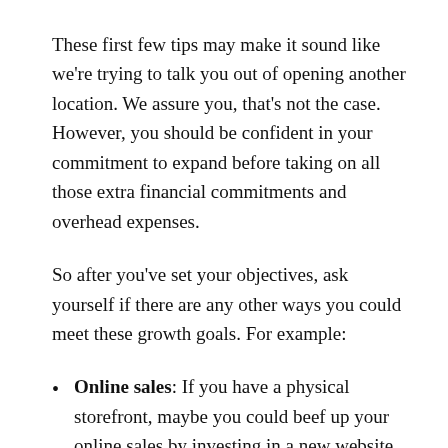These first few tips may make it sound like we're trying to talk you out of opening another location. We assure you, that's not the case. However, you should be confident in your commitment to expand before taking on all those extra financial commitments and overhead expenses.
So after you've set your objectives, ask yourself if there are any other ways you could meet these growth goals. For example:
Online sales: If you have a physical storefront, maybe you could beef up your online sales by investing in a new website and social media marketing.
New services: Are you running a successful restaurant? Perhaps additional delivery and takeout